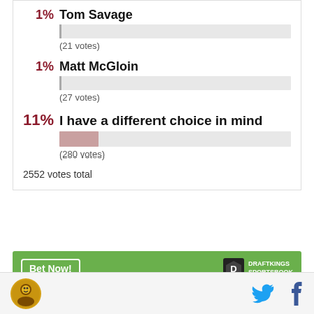[Figure (bar-chart): Poll results]
2552 votes total
[Figure (logo): DraftKings Sportsbook banner with Bet Now button]
[Figure (logo): Site logo circular icon, Twitter and Facebook social icons]